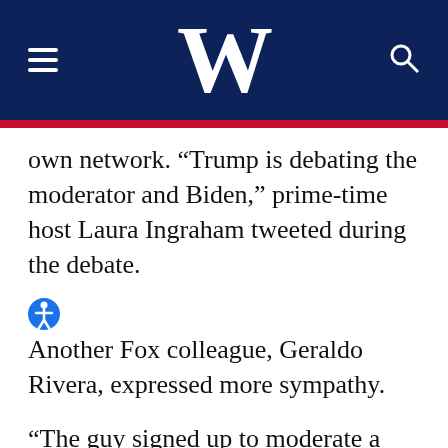W
own network. “Trump is debating the moderator and Biden,” prime-time host Laura Ingraham tweeted during the debate.
Another Fox colleague, Geraldo Rivera, expressed more sympathy.
“The guy signed up to moderate a debate and he ended up trying to referee a knife fight,” he said.
Wallace, host of “Fox News Sunday,”